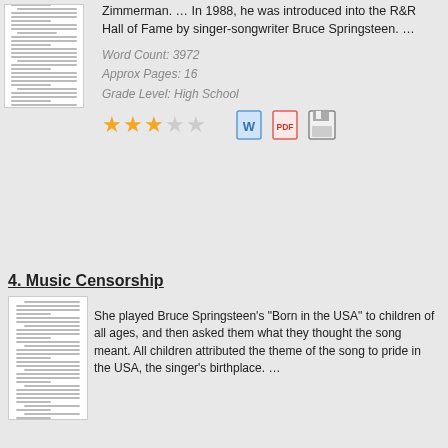Zimmerman. … In 1988, he was introduced into the R&R Hall of Fame by singer-songwriter Bruce Springsteen. …
Word Count: 3972
Approx Pages: 16
Grade Level: High School
[Figure (other): Three filled gold stars and two empty stars rating, plus Word, PDF, and save icons]
4. Music Censorship
She played Bruce Springsteen's "Born in the USA" to children of all ages, and then asked them what they thought the song meant. All children attributed the theme of the song to pride in the USA, the singer's birthplace. …